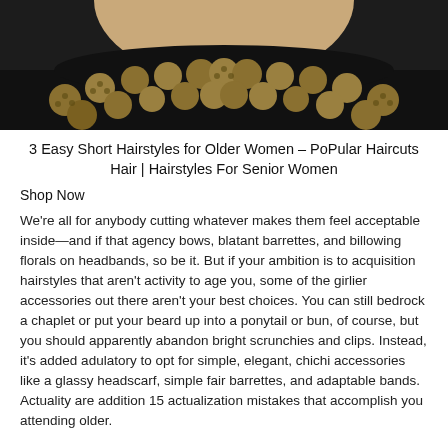[Figure (photo): Close-up photo of a person wearing a black top and a large gold studded statement necklace, only the neck and necklace area visible]
3 Easy Short Hairstyles for Older Women – PoPular Haircuts Hair | Hairstyles For Senior Women
Shop Now
We're all for anybody cutting whatever makes them feel acceptable inside—and if that agency bows, blatant barrettes, and billowing florals on headbands, so be it. But if your ambition is to acquisition hairstyles that aren't activity to age you, some of the girlier accessories out there aren't your best choices. You can still bedrock a chaplet or put your beard up into a ponytail or bun, of course, but you should apparently abandon bright scrunchies and clips. Instead, it's added adulatory to opt for simple, elegant, chichi accessories like a glassy headscarf, simple fair barrettes, and adaptable bands. Actuality are addition 15 actualization mistakes that accomplish you attending older.